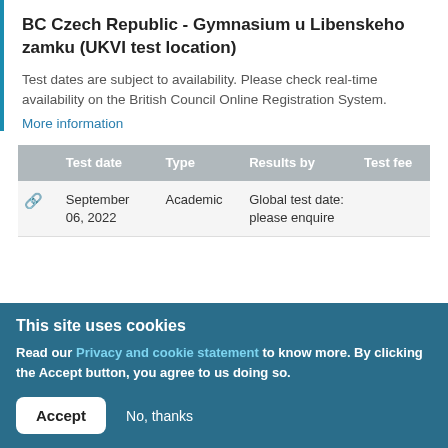BC Czech Republic - Gymnasium u Libenskeho zamku (UKVI test location)
Test dates are subject to availability. Please check real-time availability on the British Council Online Registration System.
More information
|  | Test date | Type | Results by | Test fee |
| --- | --- | --- | --- | --- |
| 🔗 | September 06, 2022 | Academic | Global test date: please enquire |  |
This site uses cookies
Read our Privacy and cookie statement to know more. By clicking the Accept button, you agree to us doing so.